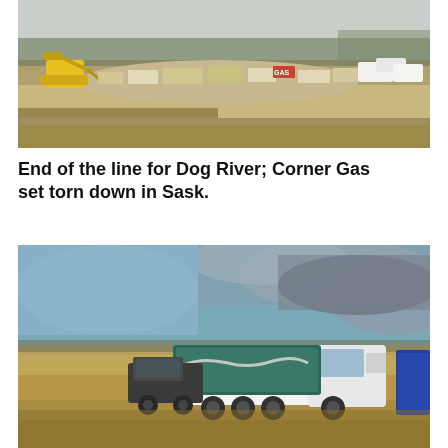[Figure (photo): Aerial/wide view of a demolition site showing a yellow excavator and piles of rubble and debris spread across a flat, open area with dry grass fields and bare trees in the background. A sign reading 'GAS' is visible among the wreckage.]
End of the line for Dog River; Corner Gas set torn down in Sask.
[Figure (photo): Wide shot of a flat prairie landscape under a dramatic cloudy sky. A white Freightliner dump truck with a dark teal/green box is parked in dry golden grass. A blue dump truck box is partially visible on the right edge. A dark pickup truck is visible behind the white truck.]